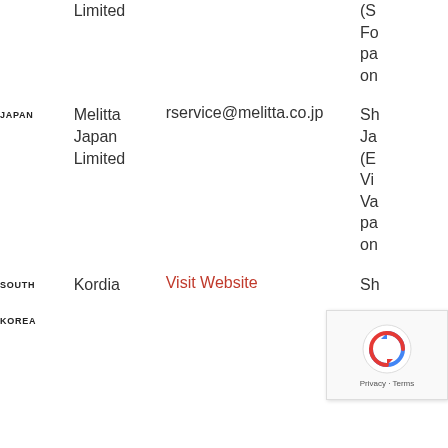| Country | Company | Contact | Info |
| --- | --- | --- | --- |
|  | Limited |  | (S... Fo... pa... on... |
| JAPAN | Melitta Japan Limited | rservice@melitta.co.jp | Sh... Ja... (E... Vi... Va... pa... on... |
| SOUTH KOREA | Kordia | Visit Website | Sh... KO... |